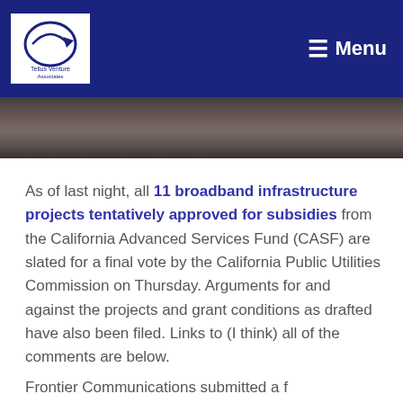Tellus Venture Associates — Menu
[Figure (photo): Partial photo strip showing people, cropped at top of article]
As of last night, all 11 broadband infrastructure projects tentatively approved for subsidies from the California Advanced Services Fund (CASF) are slated for a final vote by the California Public Utilities Commission on Thursday. Arguments for and against the projects and grant conditions as drafted have also been filed. Links to (I think) all of the comments are below.
Frontier Communications submitted a f…